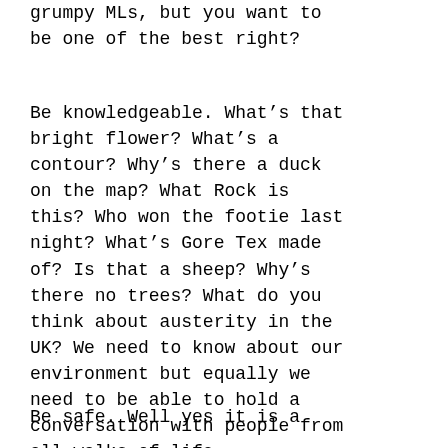grumpy MLs, but you want to be one of the best right?
Be knowledgeable. What’s that bright flower? What’s a contour? Why’s there a duck on the map? What Rock is this? Who won the footie last night? What’s Gore Tex made of? Is that a sheep? Why’s there no trees? What do you think about austerity in the UK? We need to know about our environment but equally we need to be able to hold a conversation with people from all walks of life.
Be safe. Well yes it is a